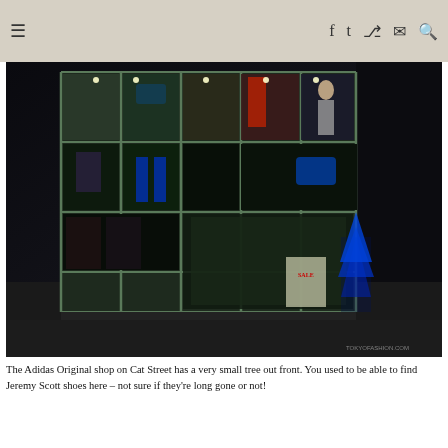Navigation header with hamburger menu and social icons (Facebook, Twitter, RSS, Email, Search)
[Figure (photo): Night-time exterior photo of the Adidas Originals store on Cat Street, Tokyo. The store front is a large glass grid display window showing colorful clothing, mannequins, and a blue Christmas tree inside. Watermark reads TOKYOFASHION.COM in the bottom right corner.]
The Adidas Original shop on Cat Street has a very small tree out front. You used to be able to find Jeremy Scott shoes here – not sure if they're long gone or not!